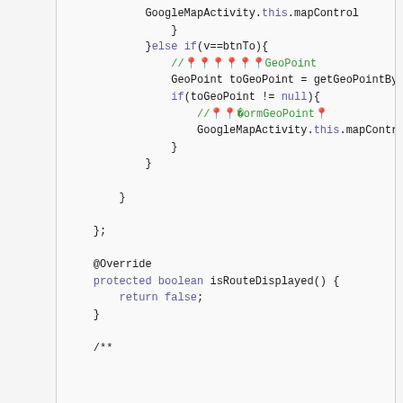[Figure (screenshot): Code editor screenshot showing Java/Android code with syntax highlighting. Contains method body with if-else logic for GeoPoint handling, a @Override method isRouteDisplayed(), and start of a Javadoc comment.]